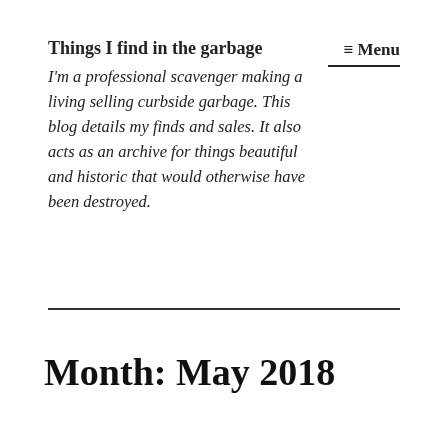Things I find in the garbage
I'm a professional scavenger making a living selling curbside garbage. This blog details my finds and sales. It also acts as an archive for things beautiful and historic that would otherwise have been destroyed.
≡ Menu
Month: May 2018